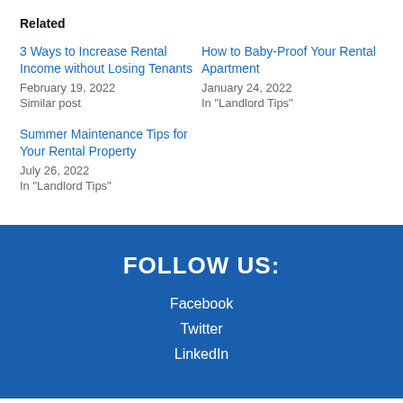Related
3 Ways to Increase Rental Income without Losing Tenants
February 19, 2022
Similar post
How to Baby-Proof Your Rental Apartment
January 24, 2022
In "Landlord Tips"
Summer Maintenance Tips for Your Rental Property
July 26, 2022
In "Landlord Tips"
FOLLOW US:
Facebook
Twitter
LinkedIn